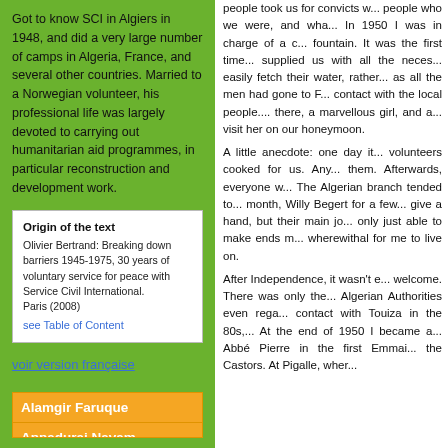Got to know SCI in Algiers in 1948, and did a very large number of camps in Algeria, France, and several other countries. Married to a Norwegian volunteer, his professional life was largely devoted to carrying out humanitarian aid programmes, in particular reconstruction and development work.
Origin of the text
Olivier Bertrand: Breaking down barriers 1945-1975, 30 years of voluntary service for peace with Service Civil International. Paris (2008)
see Table of Content
voir version française
Alamgir Faruque
Appadurai Navam
Begert Willy
Bornia Emile
people took us for convicts w... people who we were, and wha... In 1950 I was in charge of a c... fountain. It was the first time... supplied us with all the neces... easily fetch their water, rather... as all the men had gone to F... contact with the local people.... there, a marvellous girl, and a... visit her on our honeymoon.
A little anecdote: one day it... volunteers cooked for us. Any... them. Afterwards, everyone w... The Algerian branch tended to... month, Willy Begert for a few... give a hand, but their main jo... only just able to make ends m... wherewithal for me to live on.
After Independence, it wasn't e... welcome. There was only the... Algerian Authorities even rega... contact with Touiza in the 80s,... At the end of 1950 I became a... Abbé Pierre in the first Emmai... the Castors. At Pigalle, wher...